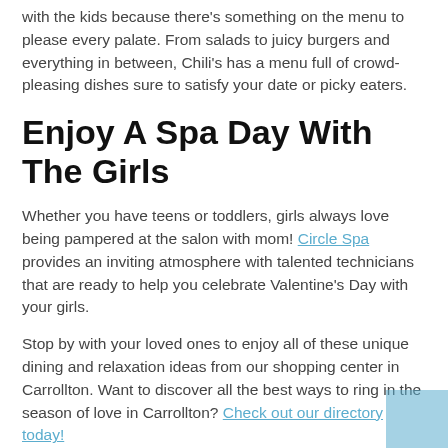with the kids because there's something on the menu to please every palate. From salads to juicy burgers and everything in between, Chili's has a menu full of crowd-pleasing dishes sure to satisfy your date or picky eaters.
Enjoy A Spa Day With The Girls
Whether you have teens or toddlers, girls always love being pampered at the salon with mom! Circle Spa provides an inviting atmosphere with talented technicians that are ready to help you celebrate Valentine's Day with your girls.
Stop by with your loved ones to enjoy all of these unique dining and relaxation ideas from our shopping center in Carrollton. Want to discover all the best ways to ring in the season of love in Carrollton? Check out our directory today!
Trinity Valley is offered by Weitzman. Weitzman is one of